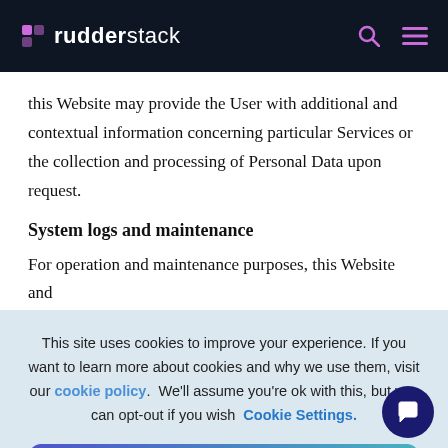rudderstack
this Website may provide the User with additional and contextual information concerning particular Services or the collection and processing of Personal Data upon request.
System logs and maintenance
For operation and maintenance purposes, this Website and
This site uses cookies to improve your experience. If you want to learn more about cookies and why we use them, visit our cookie policy.  We'll assume you're ok with this, but you can opt-out if you wish  Cookie Settings.
Accept